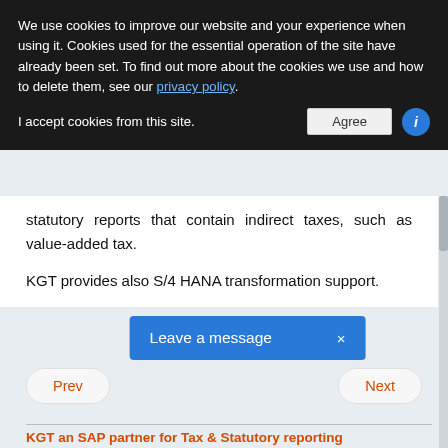We use cookies to improve our website and your experience when using it. Cookies used for the essential operation of the site have already been set. To find out more about the cookies we use and how to delete them, see our privacy policy.
I accept cookies from this site.
statutory reports that contain indirect taxes, such as value-added tax.
KGT provides also S/4 HANA transformation support.
Leave a message ×
Prev
Next
KGT an SAP partner for Tax & Statutory reporting
[Figure (logo): KGT logo with colored geometric shapes]